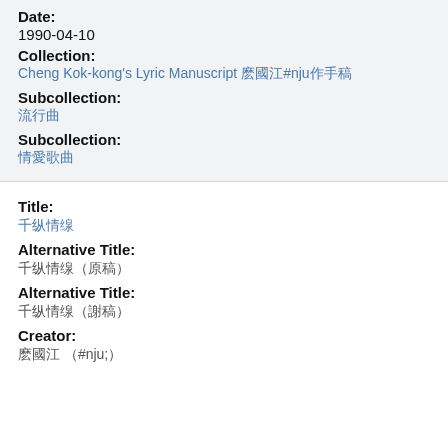Date:
1990-04-10
Collection:
Cheng Kok-kong's Lyric Manuscript 鄭國江詞作手稿
Subcollection:
流行曲
Subcollection:
情愛歌曲
Title:
千縷情絲
Alternative Title:
千縷情絲（原稿）
Alternative Title:
千縷情絲（謄稿）
Creator:
鄭國江 (詞)